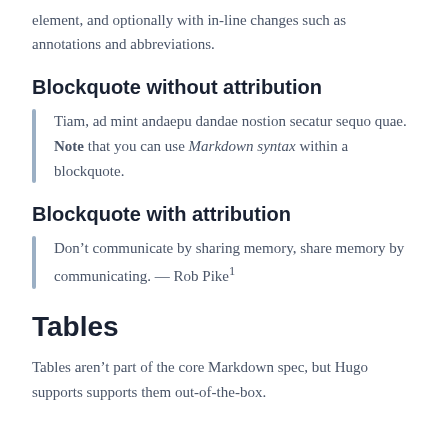element, and optionally with in-line changes such as annotations and abbreviations.
Blockquote without attribution
Tiam, ad mint andaepu dandae nostion secatur sequo quae. Note that you can use Markdown syntax within a blockquote.
Blockquote with attribution
Don’t communicate by sharing memory, share memory by communicating. — Rob Pike¹
Tables
Tables aren’t part of the core Markdown spec, but Hugo supports supports them out-of-the-box.